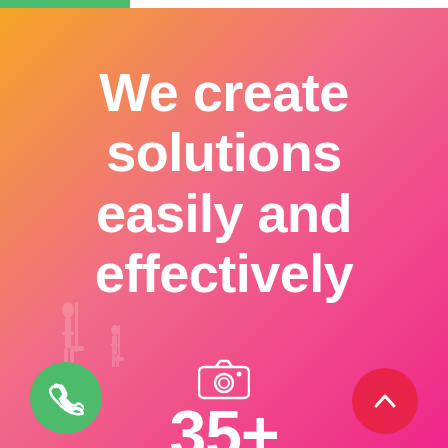[Figure (illustration): Orange to pink gradient background with faint silhouettes of people on water/beach, mobile app UI screenshot with headline text, camera icon, phone button, and scroll-up button]
We create solutions easily and effectively
35+
[Figure (illustration): Camera icon (outline style) in white, centered above the 35+ number]